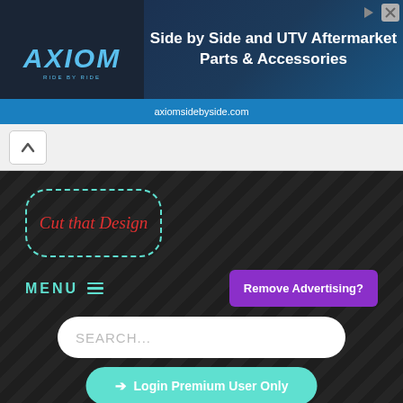[Figure (screenshot): Axiom Side by Side and UTV Aftermarket Parts & Accessories advertisement banner with axiom logo on left and text on right, with axiomsidebyside.com URL bar at bottom. Play button and close button visible.]
[Figure (screenshot): Browser navigation bar with up chevron arrow button]
[Figure (screenshot): Cut that Design website interface on dark diagonal striped background showing logo badge, MENU hamburger icon, Remove Advertising? purple button, search box, and Login Premium User Only teal button]